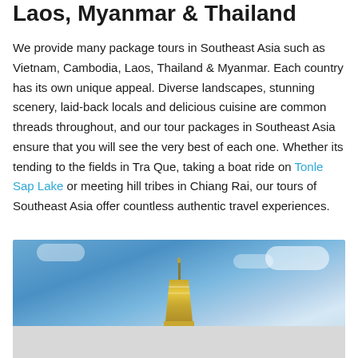Laos, Myanmar & Thailand
We provide many package tours in Southeast Asia such as Vietnam, Cambodia, Laos, Thailand & Myanmar. Each country has its own unique appeal. Diverse landscapes, stunning scenery, laid-back locals and delicious cuisine are common threads throughout, and our tour packages in Southeast Asia ensure that you will see the very best of each one. Whether its tending to the fields in Tra Que, taking a boat ride on Tonle Sap Lake or meeting hill tribes in Chiang Rai, our tours of Southeast Asia offer countless authentic travel experiences.
[Figure (photo): Photo of a golden Buddhist stupa/pagoda against a bright blue sky with white clouds]